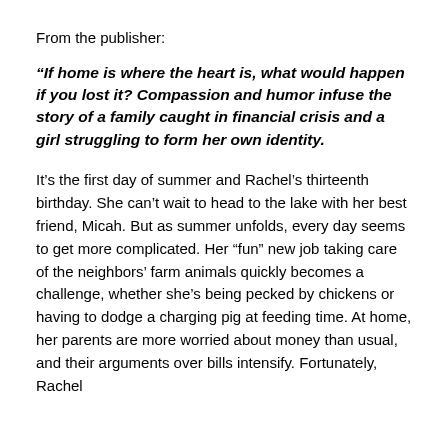From the publisher:
“If home is where the heart is, what would happen if you lost it? Compassion and humor infuse the story of a family caught in financial crisis and a girl struggling to form her own identity.
It’s the first day of summer and Rachel’s thirteenth birthday. She can’t wait to head to the lake with her best friend, Micah. But as summer unfolds, every day seems to get more complicated. Her “fun” new job taking care of the neighbors’ farm animals quickly becomes a challenge, whether she’s being pecked by chickens or having to dodge a charging pig at feeding time. At home, her parents are more worried about money than usual, and their arguments over bills intensify. Fortunately, Rachel can count on Micah to help her cope with all the stress...